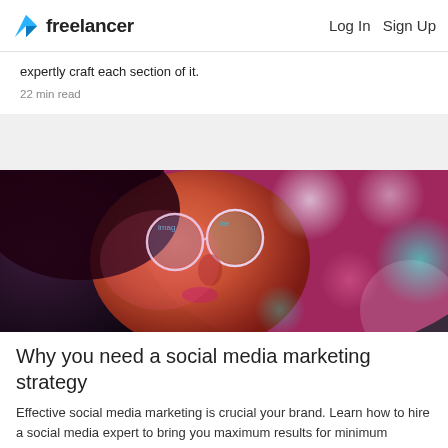Freelancer | Log In | Sign Up
expertly craft each section of it.
22 min read
[Figure (photo): Woman with round glasses reflecting colorful neon lights, looking upward against a blurred bokeh background of blue, pink, and teal lights.]
Why you need a social media marketing strategy
Effective social media marketing is crucial your brand. Learn how to hire a social media expert to bring you maximum results for minimum investment.